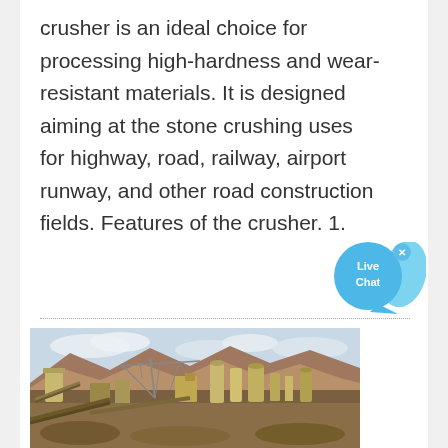crusher is an ideal choice for processing high-hardness and wear-resistant materials. It is designed aiming at the stone crushing uses for highway, road, railway, airport runway, and other road construction fields. Features of the crusher. 1.
[Figure (photo): Aerial view of a large industrial stone crushing / mining facility with multiple silos, conveyors, cranes, and processing equipment set against mountains and a partly cloudy sky.]